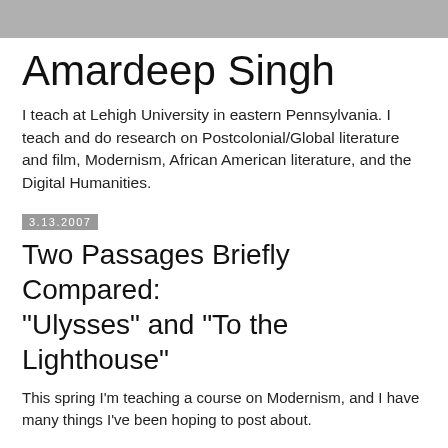Amardeep Singh
I teach at Lehigh University in eastern Pennsylvania. I teach and do research on Postcolonial/Global literature and film, Modernism, African American literature, and the Digital Humanities.
3.13.2007
Two Passages Briefly Compared: "Ulysses" and "To the Lighthouse"
This spring I'm teaching a course on Modernism, and I have many things I've been hoping to post about.
One topic we discussed might be described as "comparative stream of consciousness," though I generally don't emphasize the term "stream-of-consciousness" very much, since it is virtually impossible to